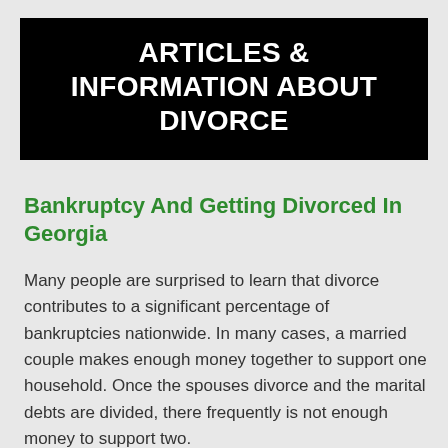ARTICLES & INFORMATION ABOUT DIVORCE
Bankruptcy And Getting Divorced In Georgia
Many people are surprised to learn that divorce contributes to a significant percentage of bankruptcies nationwide. In many cases, a married couple makes enough money together to support one household. Once the spouses divorce and the marital debts are divided, there frequently is not enough money to support two.